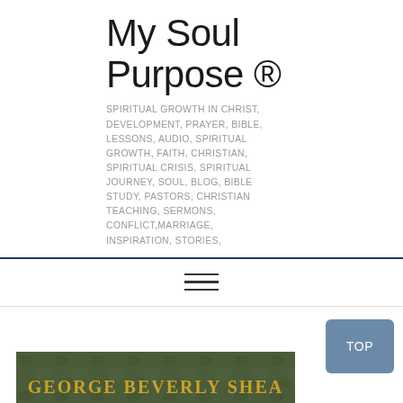My Soul Purpose ®
SPIRITUAL GROWTH IN CHRIST, DEVELOPMENT, PRAYER, BIBLE, LESSONS, AUDIO, SPIRITUAL GROWTH, FAITH, CHRISTIAN, SPIRITUAL CRISIS, SPIRITUAL JOURNEY, SOUL, BLOG, BIBLE STUDY, PASTORS, CHRISTIAN TEACHING, SERMONS, CONFLICT,MARRIAGE, INSPIRATION, STORIES,
[Figure (other): Hamburger menu navigation icon with three horizontal lines]
TOP
[Figure (photo): Bottom portion of a book or image cover showing text GEORGE BEVERLY SHEA on a dark green/camouflage background with gold lettering]